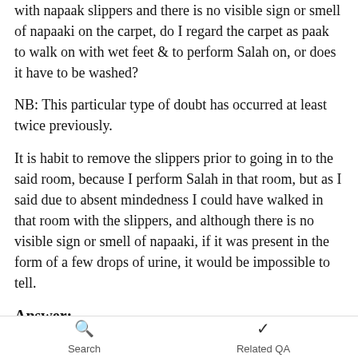with napaak slippers and there is no visible sign or smell of napaaki on the carpet, do I regard the carpet as paak to walk on with wet feet & to perform Salah on, or does it have to be washed?
NB: This particular type of doubt has occurred at least twice previously.
It is habit to remove the slippers prior to going in to the said room, because I perform Salah in that room, but as I said due to absent mindedness I could have walked in that room with the slippers, and although there is no visible sign or smell of napaaki, if it was present in the form of a few drops of urine, it would be impossible to tell.
Answer:
In the Name of Allah, the Most Gracious, the Most
Search    Related QA